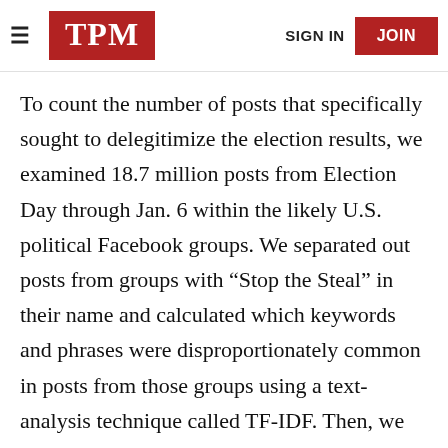TPM | SIGN IN | JOIN
To count the number of posts that specifically sought to delegitimize the election results, we examined 18.7 million posts from Election Day through Jan. 6 within the likely U.S. political Facebook groups. We separated out posts from groups with “Stop the Steal” in their name and calculated which keywords and phrases were disproportionately common in posts from those groups using a text-analysis technique called TF-IDF. Then, we handpicked the terms and keywords that were meaningfully linked to election delegitimization theories (e.g., “stop the steal,” “steal the election,” “every legal vote”). We had